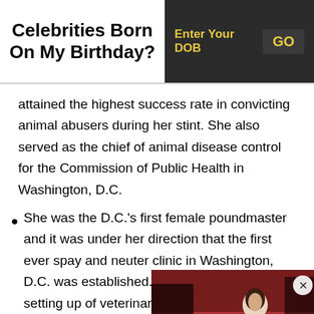Celebrities Born On My Birthday?
attained the highest success rate in convicting animal abusers during her stint. She also served as the chief of animal disease control for the Commission of Public Health in Washington, D.C.
She was the D.C.'s first female poundmaster and it was under her direction that the first ever spay and neuter clinic in Washington, D.C. was established. She also facilitated the setting up of veterinary services and adoption prog... role in getting many organi... animal cruelty and abuse c...
[Figure (photo): A woman in a white dress on a red carpet, with dark crowd/background visible. An X close button appears at top right.]